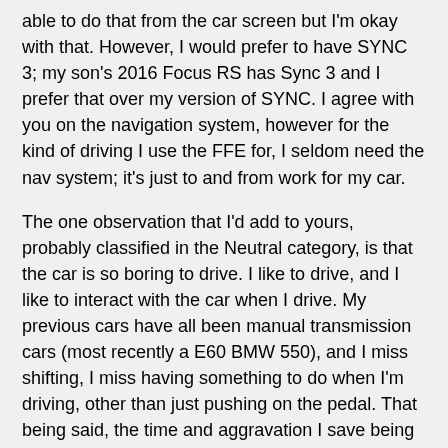able to do that from the car screen but I'm okay with that. However, I would prefer to have SYNC 3; my son's 2016 Focus RS has Sync 3 and I prefer that over my version of SYNC. I agree with you on the navigation system, however for the kind of driving I use the FFE for, I seldom need the nav system; it's just to and from work for my car.
The one observation that I'd add to yours, probably classified in the Neutral category, is that the car is so boring to drive. I like to drive, and I like to interact with the car when I drive. My previous cars have all been manual transmission cars (most recently a E60 BMW 550), and I miss shifting, I miss having something to do when I'm driving, other than just pushing on the pedal. That being said, the time and aggravation I save being able to drive in the carpool lane all of the time is worth it.
Keith